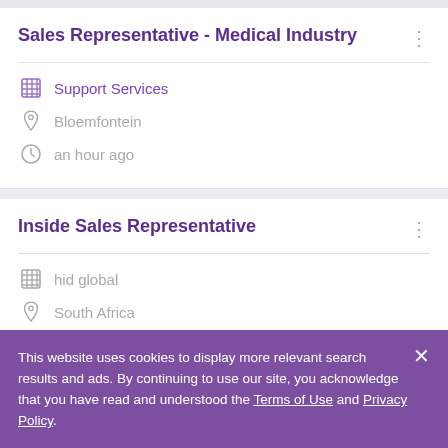Sales Representative - Medical Industry
Support Services
Bloemfontein
an hour ago
Inside Sales Representative
hid global
South Africa
an hour ago
This website uses cookies to display more relevant search results and ads. By continuing to use our site, you acknowledge that you have read and understood the Terms of Use and Privacy Policy.